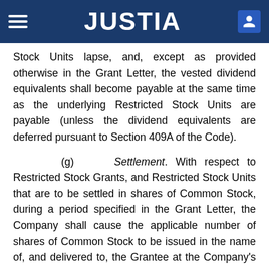JUSTIA
Stock Units lapse, and, except as provided otherwise in the Grant Letter, the vested dividend equivalents shall become payable at the same time as the underlying Restricted Stock Units are payable (unless the dividend equivalents are deferred pursuant to Section 409A of the Code).
(g) Settlement. With respect to Restricted Stock Grants, and Restricted Stock Units that are to be settled in shares of Common Stock, during a period specified in the Grant Letter, the Company shall cause the applicable number of shares of Common Stock to be issued in the name of, and delivered to, the Grantee at the Company's corporate headquarters in Philadelphia, Pennsylvania or, at the Company's sole discretion, by book entry into a brokerage or other account designated by the Company for such purpose,